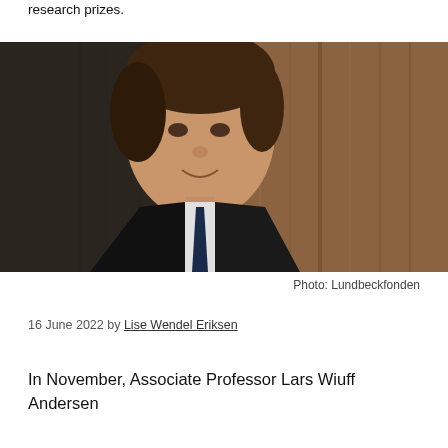research prizes.
[Figure (photo): Portrait photograph of a young man in a dark suit and dark tie, smiling, against a wooden panel background. Photo credit: Lundbeckfonden.]
Photo: Lundbeckfonden
16 June 2022 by Lise Wendel Eriksen
In November, Associate Professor Lars Wiuff Andersen